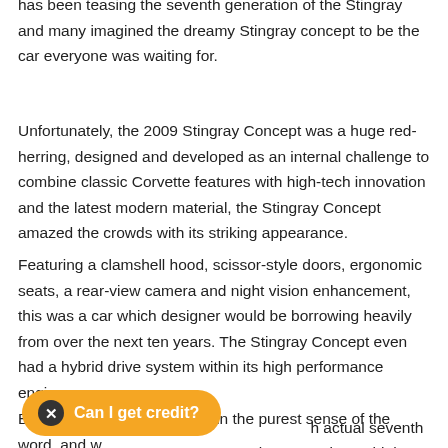has been teasing the seventh generation of the Stingray and many imagined the dreamy Stingray concept to be the car everyone was waiting for.
Unfortunately, the 2009 Stingray Concept was a huge red-herring, designed and developed as an internal challenge to combine classic Corvette features with high-tech innovation and the latest modern material, the Stingray Concept amazed the crowds with its striking appearance.
Featuring a clamshell hood, scissor-style doors, ergonomic seats, a rear-view camera and night vision enhancement, this was a car which designer would be borrowing heavily from over the next ten years. The Stingray Concept even had a hybrid drive system within its high performance engine.
But this was to be a concept in the purest sense of the word, and w... actual seventh generation Stingray in ...ok so stunning or high-end as the concept.